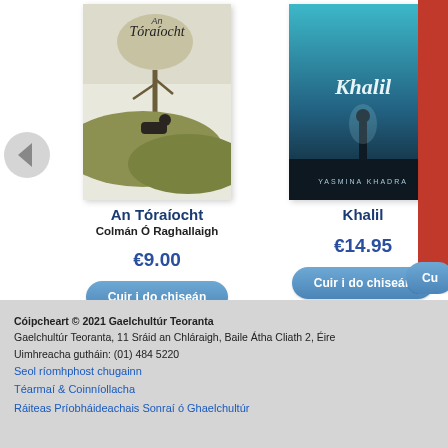[Figure (illustration): Left navigation arrow (back/previous) circular button]
[Figure (illustration): Book cover for An Tóraíocht - sketch style illustration with horse and rider]
An Tóraíocht
Colmán Ó Raghallaigh
€9.00
Cuir i do chiseán
[Figure (illustration): Book cover for Khalil - dark cover with silhouette figure and teal sky, title in cursive]
Khalil
€14.95
Cuir i do chiseán
[Figure (illustration): Partially visible third book cover on right edge]
Au
Cu
Cóipcheart © 2021 Gaelchultúr Teoranta
Gaelchultúr Teoranta, 11 Sráid an Chláraigh, Baile Átha Cliath 2, Éire
Uimhreacha gutháin: (01) 484 5220
Seol ríomhphost chugainn
Téarmaí & Coinníollacha
Ráiteas Príobháideachais Sonraí ó Ghaelchultúr